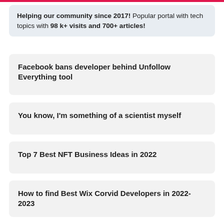Helping our community since 2017! Popular portal with tech topics with 98 k+ visits and 700+ articles!
Facebook bans developer behind Unfollow Everything tool
You know, I'm something of a scientist myself
Top 7 Best NFT Business Ideas in 2022
How to find Best Wix Corvid Developers in 2022-2023